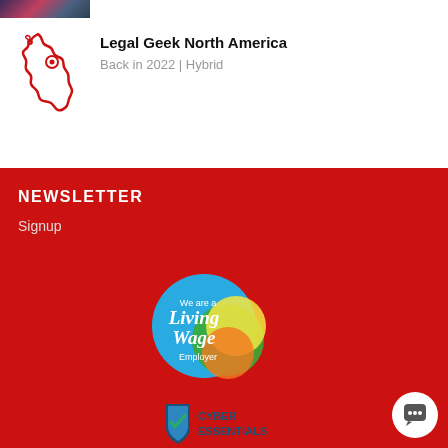[Figure (photo): Partial photo strip at top of page showing event crowd]
[Figure (illustration): Red outline illustration of North America map with location pin icon]
Legal Geek North America
Back in 2022 | Hybrid
NEWSLETTER
Signup
[Figure (logo): Living Wage Employer logo - circular badge with blue, green, yellow and orange overlapping circles on red background with text 'We are a Living Wage Employer']
[Figure (logo): Cyber Essentials logo - blue/green shield with checkmark and text 'CYBER ESSENTIALS']